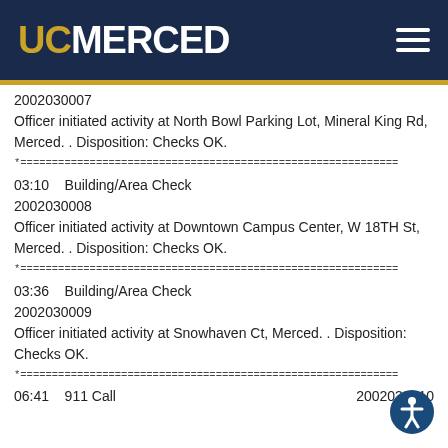UC MERCED
2002030007
Officer initiated activity at North Bowl Parking Lot, Mineral King Rd, Merced. . Disposition: Checks OK.
03:10    Building/Area Check
2002030008
Officer initiated activity at Downtown Campus Center, W 18TH St, Merced. . Disposition: Checks OK.
03:36    Building/Area Check
2002030009
Officer initiated activity at Snowhaven Ct, Merced. . Disposition: Checks OK.
06:41    911 Call                                          2002030010